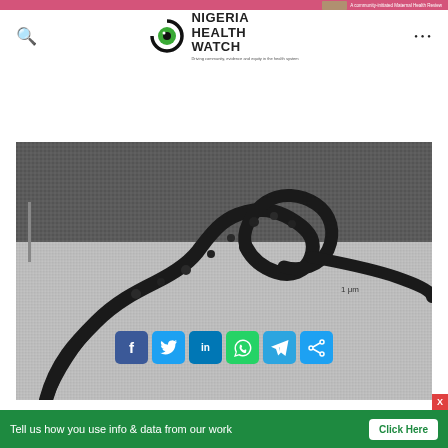A community-initiated Maternal Health Review
[Figure (logo): Nigeria Health Watch logo — stylized eye with green iris, black circle, text NIGERIA HEALTH WATCH in bold]
[Figure (photo): Black and white electron microscope image of an Ebola virus particle showing a filamentous structure with a curved, hook-like shape against a grainy background]
[Figure (infographic): Social share buttons: Facebook, Twitter, LinkedIn, WhatsApp, Telegram, Share]
Tell us how you use info & data from our work
Click Here